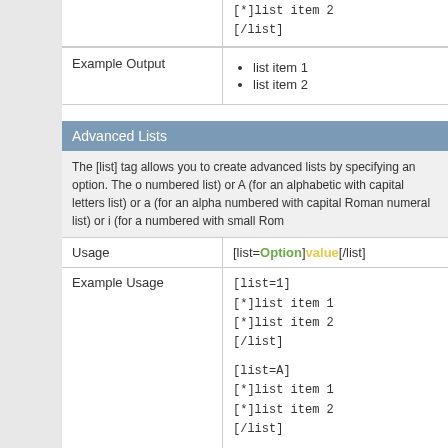| Example Output | • list item 1
• list item 2 |
Advanced Lists
The [list] tag allows you to create advanced lists by specifying an option. The o numbered list) or A (for an alphabetic with capital letters list) or a (for an alpha numbered with capital Roman numeral list) or i (for a numbered with small Rom
| Usage | [list=Option]value[/list] |
| Example Usage | [list=1]
[*]list item 1
[*]list item 2
[/list]

[list=A]
[*]list item 1
[*]list item 2
[/list]

[list=a]
[*]list item 1
[*]list item 2
[/list] |